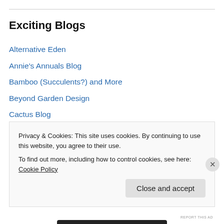Exciting Blogs
Alternative Eden
Annie's Annuals Blog
Bamboo (Succulents?) and More
Beyond Garden Design
Cactus Blog
Danger Garden
Far Out Flora
Garden Rant
Garden, uh, "Porn"
Gilliam County Garden
Privacy & Cookies: This site uses cookies. By continuing to use this website, you agree to their use.
To find out more, including how to control cookies, see here: Cookie Policy
Close and accept